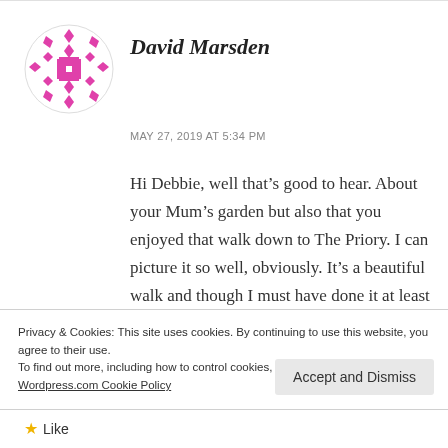[Figure (illustration): Circular avatar icon with pink/magenta geometric pattern on white background]
David Marsden
MAY 27, 2019 AT 5:34 PM
Hi Debbie, well that’s good to hear. About your Mum’s garden but also that you enjoyed that walk down to The Priory. I can picture it so well, obviously. It’s a beautiful walk and though I must have done it at least a hundred times, I always
Privacy & Cookies: This site uses cookies. By continuing to use this website, you agree to their use.
To find out more, including how to control cookies, see here:
Wordpress.com Cookie Policy
Accept and Dismiss
Like